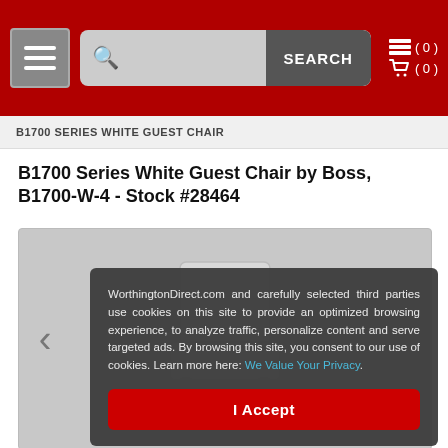SEARCH (0) (0)
B1700 SERIES WHITE GUEST CHAIR
B1700 Series White Guest Chair by Boss, B1700-W-4 - Stock #28464
[Figure (photo): Product photo of B1700 Series White Guest Chair, shown against light gray background]
WorthingtonDirect.com and carefully selected third parties use cookies on this site to provide an optimized browsing experience, to analyze traffic, personalize content and serve targeted ads. By browsing this site, you consent to our use of cookies. Learn more here: We Value Your Privacy.
I Accept